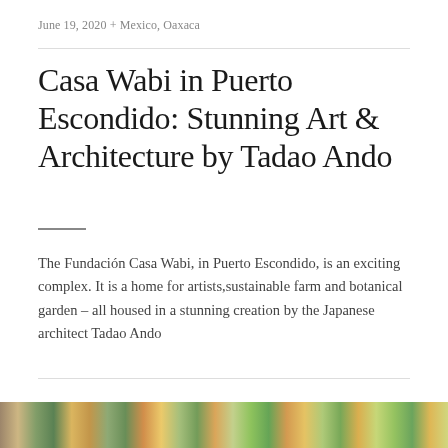June 19, 2020 + Mexico, Oaxaca
Casa Wabi in Puerto Escondido: Stunning Art & Architecture by Tadao Ando
The Fundación Casa Wabi, in Puerto Escondido, is an exciting complex. It is a home for artists,sustainable farm and botanical garden – all housed in a stunning creation by the Japanese architect Tadao Ando
[Figure (photo): Colorful photo strip at the bottom of the page showing architectural and landscape imagery of Casa Wabi]